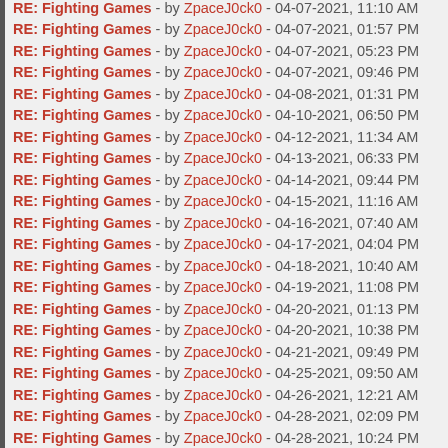RE: Fighting Games - by ZpaceJ0ck0 - 04-07-2021, 11:10 AM
RE: Fighting Games - by ZpaceJ0ck0 - 04-07-2021, 01:57 PM
RE: Fighting Games - by ZpaceJ0ck0 - 04-07-2021, 05:23 PM
RE: Fighting Games - by ZpaceJ0ck0 - 04-07-2021, 09:46 PM
RE: Fighting Games - by ZpaceJ0ck0 - 04-08-2021, 01:31 PM
RE: Fighting Games - by ZpaceJ0ck0 - 04-10-2021, 06:50 PM
RE: Fighting Games - by ZpaceJ0ck0 - 04-12-2021, 11:34 AM
RE: Fighting Games - by ZpaceJ0ck0 - 04-13-2021, 06:33 PM
RE: Fighting Games - by ZpaceJ0ck0 - 04-14-2021, 09:44 PM
RE: Fighting Games - by ZpaceJ0ck0 - 04-15-2021, 11:16 AM
RE: Fighting Games - by ZpaceJ0ck0 - 04-16-2021, 07:40 AM
RE: Fighting Games - by ZpaceJ0ck0 - 04-17-2021, 04:04 PM
RE: Fighting Games - by ZpaceJ0ck0 - 04-18-2021, 10:40 AM
RE: Fighting Games - by ZpaceJ0ck0 - 04-19-2021, 11:08 PM
RE: Fighting Games - by ZpaceJ0ck0 - 04-20-2021, 01:13 PM
RE: Fighting Games - by ZpaceJ0ck0 - 04-20-2021, 10:38 PM
RE: Fighting Games - by ZpaceJ0ck0 - 04-21-2021, 09:49 PM
RE: Fighting Games - by ZpaceJ0ck0 - 04-25-2021, 09:50 AM
RE: Fighting Games - by ZpaceJ0ck0 - 04-26-2021, 12:21 AM
RE: Fighting Games - by ZpaceJ0ck0 - 04-28-2021, 02:09 PM
RE: Fighting Games - by ZpaceJ0ck0 - 04-28-2021, 10:24 PM
RE: Fighting Games - by ZpaceJ0ck0 - 04-29-2021, 03:20 PM
RE: Fighting Games - by ZpaceJ0ck0 - 04-30-2021, 11:17 AM
RE: Fighting Games - by ZpaceJ0ck0 - 04-30-2021, 04:32 PM
RE: Fighting Games - by ZpaceJ0ck0 - 05-05-2021, 01:19 PM